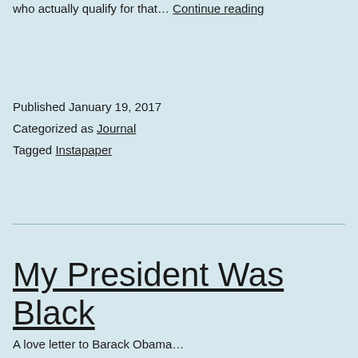who actually qualify for that… Continue reading
Published January 19, 2017
Categorized as Journal
Tagged Instapaper
My President Was Black
A love letter to Barack Obama…